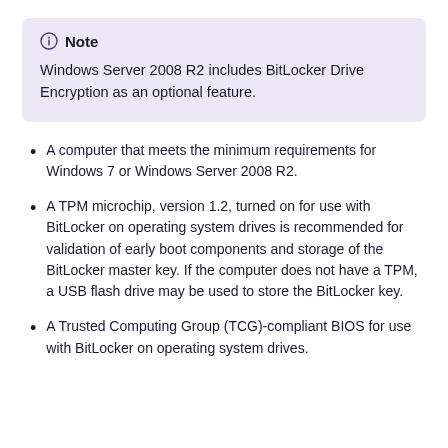Note
Windows Server 2008 R2 includes BitLocker Drive Encryption as an optional feature.
A computer that meets the minimum requirements for Windows 7 or Windows Server 2008 R2.
A TPM microchip, version 1.2, turned on for use with BitLocker on operating system drives is recommended for validation of early boot components and storage of the BitLocker master key. If the computer does not have a TPM, a USB flash drive may be used to store the BitLocker key.
A Trusted Computing Group (TCG)-compliant BIOS for use with BitLocker on operating system drives.